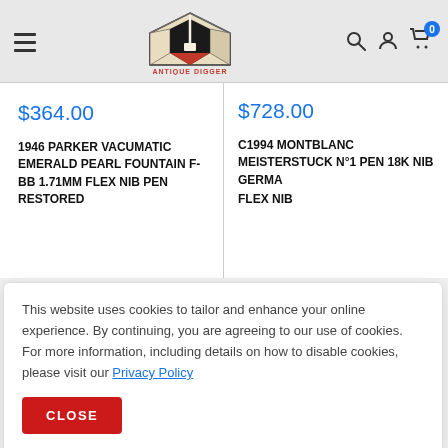[Figure (logo): Antique Digger logo - shield with shovel and pen nib, red and black on cream background, with ANTIQUE DIGGER text below]
$364.00
1946 PARKER VACUMATIC EMERALD PEARL FOUNTAIN F-BB 1.71MM FLEX NIB PEN RESTORED
$728.00
C1994 MONTBLANC MEISTERSTUCK N°1 PEN 18K NIB GERMANY FLEX NIB
This website uses cookies to tailor and enhance your online experience. By continuing, you are agreeing to our use of cookies. For more information, including details on how to disable cookies, please visit our Privacy Policy
CLOSE